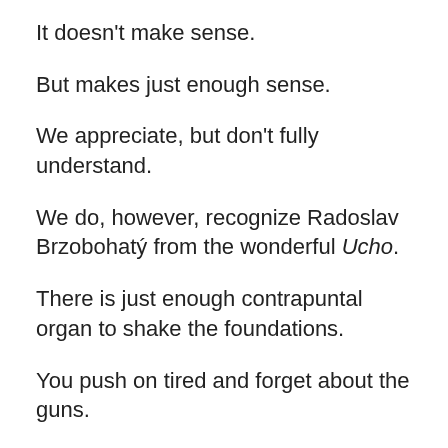It doesn’t make sense.
But makes just enough sense.
We appreciate, but don’t fully understand.
We do, however, recognize Radoslav Brzobohatý from the wonderful Ucho.
There is just enough contrapuntal organ to shake the foundations.
You push on tired and forget about the guns.
The land mine.
It seems (to put it lightly) not a ringing endorsement for communism.
Just like any political system.